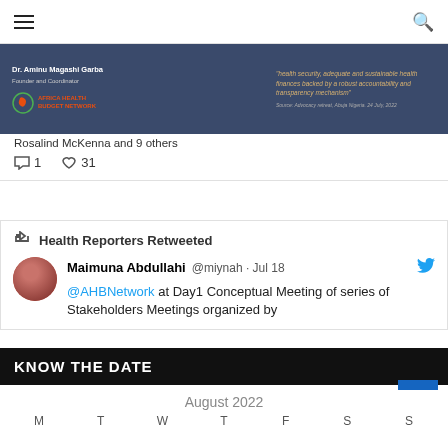Navigation bar with hamburger menu and search icon
[Figure (screenshot): Embedded tweet image showing Africa Health Budget Network tweet with Dr. Aminu Magashi Garba, quote about health security and sustainable health finances]
Rosalind McKenna and 9 others
1 comment, 31 likes
Health Reporters Retweeted
Maimuna Abdullahi @miynah · Jul 18
@AHBNetwork at Day1 Conceptual Meeting of series of Stakeholders Meetings organized by
KNOW THE DATE
August 2022
M T W T F S S